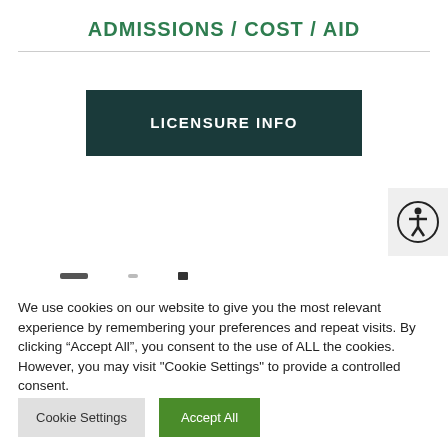ADMISSIONS / COST / AID
[Figure (other): LICENSURE INFO button — dark teal rectangular button with white bold uppercase text]
[Figure (other): Accessibility icon button — circular icon with person figure, on light grey background]
We use cookies on our website to give you the most relevant experience by remembering your preferences and repeat visits. By clicking “Accept All”, you consent to the use of ALL the cookies. However, you may visit "Cookie Settings" to provide a controlled consent.
Cookie Settings | Accept All